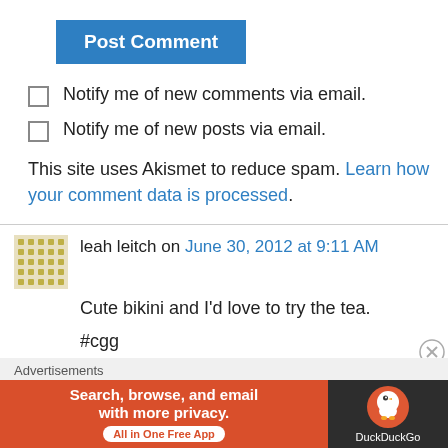[Figure (other): Post Comment button - blue rectangle with white bold text]
Notify me of new comments via email.
Notify me of new posts via email.
This site uses Akismet to reduce spam. Learn how your comment data is processed.
leah leitch on June 30, 2012 at 9:11 AM
Cute bikini and I’d love to try the tea.
#cgg
🙂
[Figure (infographic): Advertisement banner: DuckDuckGo - Search, browse, and email with more privacy. All in One Free App.]